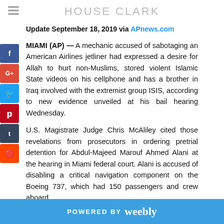HOUSE CLARK
Update September 18, 2019 via APnews.com
MIAMI (AP) — A mechanic accused of sabotaging an American Airlines jetliner had expressed a desire for Allah to hurt non-Muslims, stored violent Islamic State videos on his cellphone and has a brother in Iraq involved with the extremist group ISIS, according to new evidence unveiled at his bail hearing Wednesday.
U.S. Magistrate Judge Chris McAliley cited those revelations from prosecutors in ordering pretrial detention for Abdul-Majeed Marouf Ahmed Alani at the hearing in Miami federal court. Alani is accused of disabling a critical navigation component on the Boeing 737, which had 150 passengers and crew aboard.
Other evidence revealed Wednesday including that Alani recently sent a $700 wire transfer to someone in Iraq — where
POWERED BY weebly